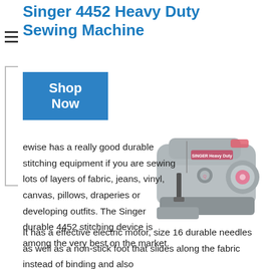Singer 4452 Heavy Duty Sewing Machine
Shop Now
[Figure (photo): Gray Singer 4452 Heavy Duty sewing machine, side view showing dial, needle, and Singer branding logo]
ewise has a really good durable stitching equipment if you are sewing lots of layers of fabric, jeans, vinyl, canvas, pillows, draperies or developing outfits. The Singer durable 4452 stitching device is among the very best on the market.
It has a effective electric motor, size 16 durable needles as well as a non-stick foot that slides along the fabric instead of binding and also